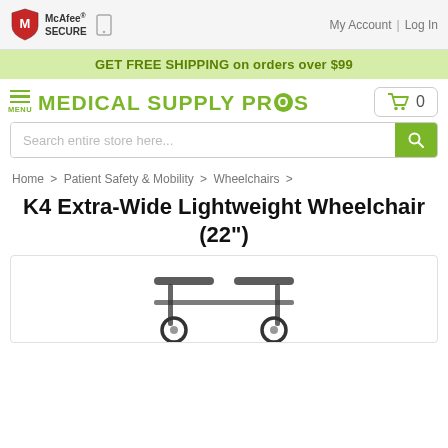[Figure (logo): McAfee SECURE badge with shield icon in top-left header]
My Account  |  Log In
GET FREE SHIPPING on orders over $99
[Figure (logo): Medical Supply Pros logo with green text and cart icon showing 0 items]
Search entire store here...
Home > Patient Safety & Mobility > Wheelchairs >
K4 Extra-Wide Lightweight Wheelchair (22")
[Figure (photo): Partial view of a wheelchair product image at bottom of page]